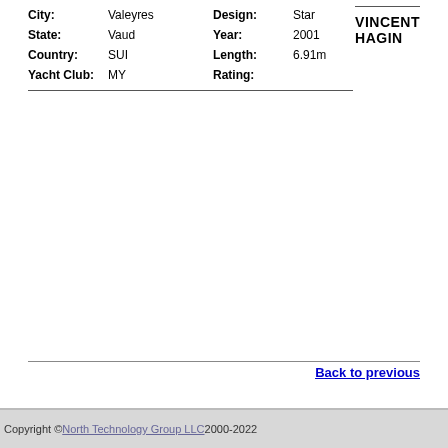City: Valeyres  State: Vaud  Country: SUI  Yacht Club: MY  Design: Star  Year: 2001  Length: 6.91m  Rating:
VINCENT HAGIN
Back to previous
Copyright © North Technology Group LLC 2000-2022